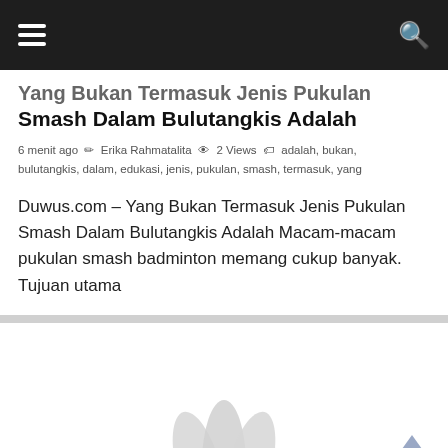Navigation bar with hamburger menu and search icon
Yang Bukan Termasuk Jenis Pukulan Smash Dalam Bulutangkis Adalah
6 menit ago  Erika Rahmatalita  2 Views  adalah, bukan, bulutangkis, dalam, edukasi, jenis, pukulan, smash, termasuk, yang
Duwus.com – Yang Bukan Termasuk Jenis Pukulan Smash Dalam Bulutangkis Adalah Macam-macam pukulan smash badminton memang cukup banyak. Tujuan utama
[Figure (illustration): Shuttlecock illustration at the bottom of the page, partially visible, with a back-to-top arrow button in the bottom right corner]